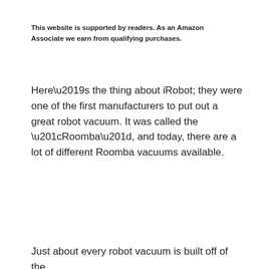This website is supported by readers. As an Amazon Associate we earn from qualifying purchases.
Here’s the thing about iRobot; they were one of the first manufacturers to put out a great robot vacuum. It was called the “Roomba”, and today, there are a lot of different Roomba vacuums available.
Just about every robot vacuum is built off of the